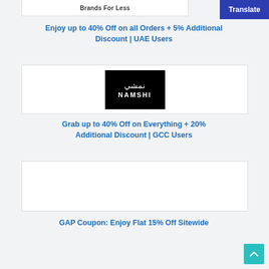[Figure (logo): Brands For Less logo text in a white box at the top]
[Figure (logo): Translate button - blue rectangle with white bold text 'Translate']
Enjoy up to 40% Off on all Orders + 5% Additional Discount | UAE Users
[Figure (logo): NAMSHI logo - black square with Arabic text نمشي and NAMSHI in white]
Grab up to 40% Off on Everything + 20% Additional Discount | GCC Users
[Figure (other): GAP brand card - white rectangle with border, no visible logo]
GAP Coupon: Enjoy Flat 15% Off Sitewide